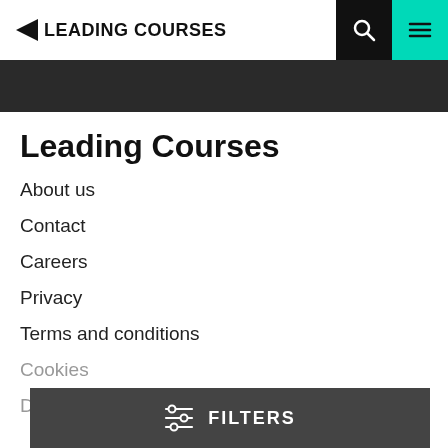LEADING COURSES
Leading Courses
About us
Contact
Careers
Privacy
Terms and conditions
Cookies
Disclaimer
FILTERS